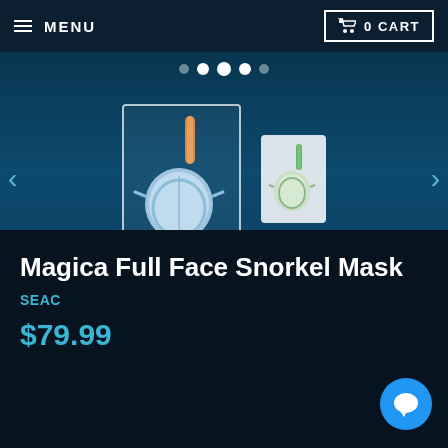MENU | 0 CART
[Figure (screenshot): Product image carousel showing a full face snorkel mask (Magica) in blue/white as main thumbnail selected, and a second green/white variant as smaller thumbnail. Navigation arrows on left and right. Carousel dots at top.]
Magica Full Face Snorkel Mask
SEAC
$79.99